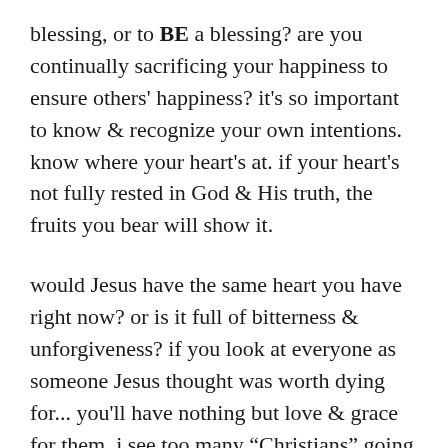blessing, or to BE a blessing? are you continually sacrificing your happiness to ensure others' happiness? it's so important to know & recognize your own intentions. know where your heart's at. if your heart's not fully rested in God & His truth, the fruits you bear will show it.
would Jesus have the same heart you have right now? or is it full of bitterness & unforgiveness? if you look at everyone as someone Jesus thought was worth dying for... you'll have nothing but love & grace for them. i see too many “Christians” going out of their way to tear others down, whether it's an individual or a church. this is not how it should be. we are called to look like Jesus, not the world. this means how we